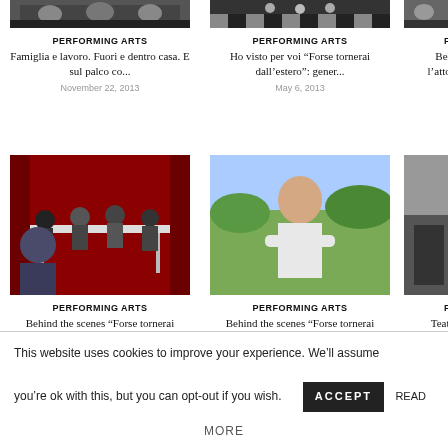[Figure (photo): Top row left: group of people on stage, dark background]
PERFORMING ARTS
Famiglia e lavoro. Fuori e dentro casa. E sul palco co...
November 22, 2013
[Figure (photo): Top row center: performers on stage with checkered floor]
PERFORMING ARTS
Ho visto per voi “Forse tornerai dall’estero”: gener...
May 6, 2013
[Figure (photo): Top row right: partially visible, cropped]
PER
Behin… l’attore A…
[Figure (photo): Bottom row left: group of people sitting around table in rehearsal room with red curtain background]
PERFORMING ARTS
Behind the scenes “Forse tornerai dall’estero” #02: il...
April 26, 2013
[Figure (photo): Bottom row center: man with shaved head in white t-shirt outdoors in green landscape]
PERFORMING ARTS
Behind the scenes “Forse tornerai dall’estero” #01: A...
April 24, 2013
[Figure (photo): Bottom row right: partially visible outdoor venue]
PER
Teatro e…
This website uses cookies to improve your experience. We’ll assume you’re ok with this, but you can opt-out if you wish.
ACCEPT
READ
MORE